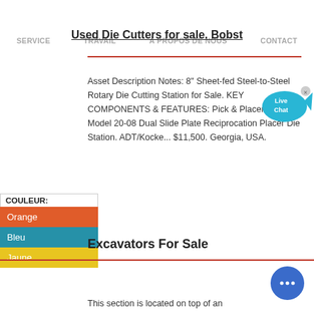SERVICE  TRAVAIL  À PROPOS DE NOUS  CONTACT
Used Die Cutters for sale. Bobst
Asset Description Notes: 8" Sheet-fed Steel-to-Steel Rotary Die Cutting Station for Sale. KEY COMPONENTS & FEATURES: Pick & Placer - Thiele Model 20-08 Dual Slide Plate Reciprocation Placer Die Station. ADT/Kocke... $11,500. Georgia, USA.
COULEUR:
Orange
Bleu
Jaune
Excavators For Sale
This section is located on top of an